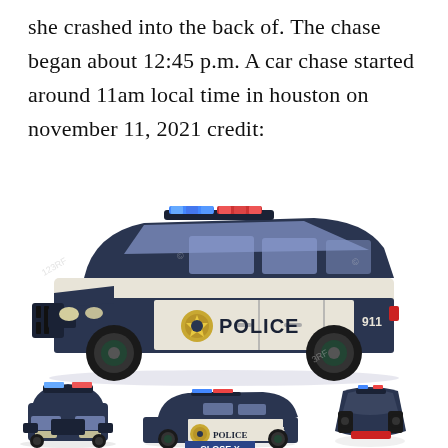she crashed into the back of. The chase began about 12:45 p.m. A car chase started around 11am local time in houston on november 11, 2021 credit:
[Figure (illustration): Illustrated police SUV (side view) in dark navy blue and white with blue/red light bar on top, gold badge and POLICE lettering on door, 911 on rear quarter panel, watermarked stock image from 123RF/Shutterstock]
[Figure (illustration): Three smaller views of police SUV: front view (left), side view with POLICE label and '911' marking and a 'CLOSE X' button overlay (center), and top/rear view (right)]